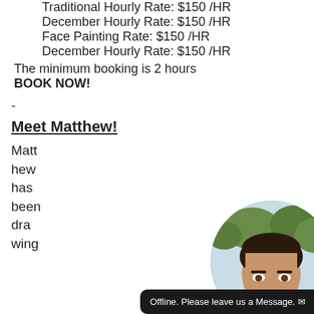Traditional Hourly Rate: $150 /HR
December Hourly Rate: $150 /HR
Face Painting Rate: $150 /HR
December Hourly Rate: $150 /HR
The minimum booking is 2 hours
BOOK NOW!
-
Meet Matthew!
Matthew has been drawing
[Figure (photo): Circular portrait photo of Matthew showing his face with dark hair, outdoors with trees in background]
Offline. Please leave us a Message.